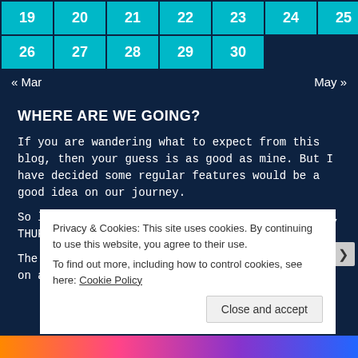| 19 | 20 | 21 | 22 | 23 | 24 | 25 |
| --- | --- | --- | --- | --- | --- | --- |
| 26 | 27 | 28 | 29 | 30 |  |  |
« Mar    May »
WHERE ARE WE GOING?
If you are wandering what to expect from this blog, then your guess is as good as mine. But I have decided some regular features would be a good idea on our journey.
So look out for SONG LYRIC SUNDAY, TUESDAY NEWS, THURSDAY VERSE and SATURDAY SNAPS.
The rest will be a surprise. That's what we like on any journey, a plan and a few t...
Privacy & Cookies: This site uses cookies. By continuing to use this website, you agree to their use.
To find out more, including how to control cookies, see here: Cookie Policy
Close and accept